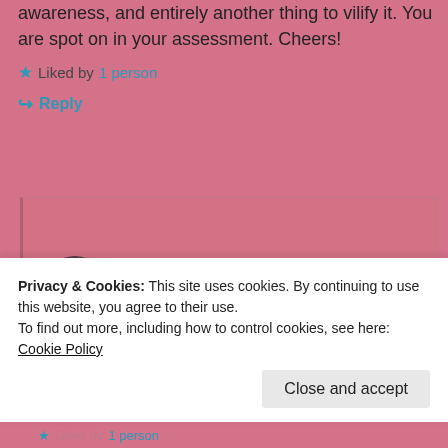awareness, and entirely another thing to vilify it. You are spot on in your assessment. Cheers!
★ Liked by 1 person
↪ Reply
wittysarcasticbookclub
June 16, 2019 at 2:45 pm
Privacy & Cookies: This site uses cookies. By continuing to use this website, you agree to their use.
To find out more, including how to control cookies, see here: Cookie Policy
Close and accept
★ Liked by 1 person